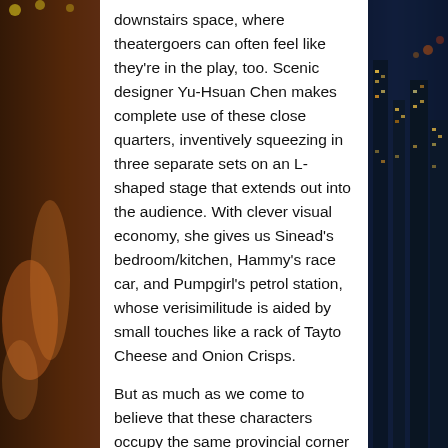downstairs space, where theatergoers can often feel like they're in the play, too. Scenic designer Yu-Hsuan Chen makes complete use of these close quarters, inventively squeezing in three separate sets on an L-shaped stage that extends out into the audience. With clever visual economy, she gives us Sinead's bedroom/kitchen, Hammy's race car, and Pumpgirl's petrol station, whose verisimilitude is aided by small touches like a rack of Tayto Cheese and Onion Crisps.
But as much as we come to believe that these characters occupy the same provincial corner of the world, there is also a developing sense that each of them is utterly alone in it, even as their stories start to collapse together. Sinead, portrayed with an affecting mix of vulnerability and rage by O'Malley, spends her days wondering about the unfairness of